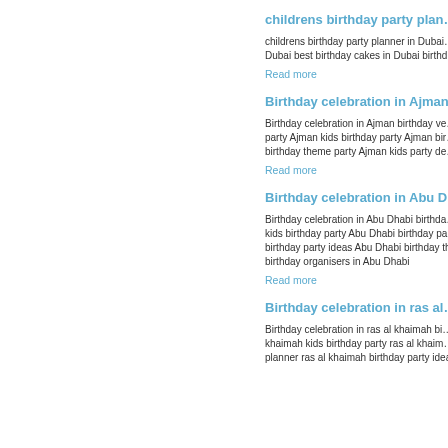childrens birthday party plan…
childrens birthday party planner in Dubai … Dubai best birthday cakes in Dubai birthd…
Read more
Birthday celebration in Ajman…
Birthday celebration in Ajman  birthday ve… party Ajman kids birthday party Ajman bir… birthday theme party Ajman kids party de…
Read more
Birthday celebration in Abu D…
Birthday celebration in Abu Dhabi  birthda… kids birthday party Abu Dhabi birthday pa… birthday party ideas Abu Dhabi birthday th… birthday organisers in Abu Dhabi
Read more
Birthday celebration in ras al…
Birthday celebration in ras al khaimah  bi… khaimah  kids birthday party ras al khaim… planner ras al khaimah birthday party idea…